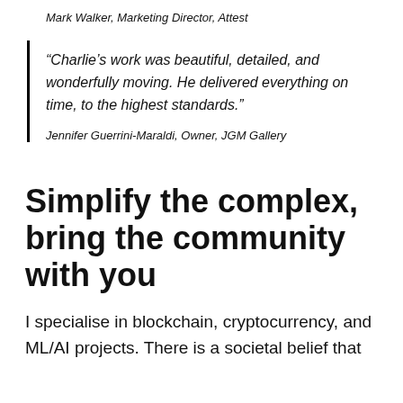Mark Walker, Marketing Director, Attest
“Charlie’s work was beautiful, detailed, and wonderfully moving. He delivered everything on time, to the highest standards.”
Jennifer Guerrini-Maraldi, Owner, JGM Gallery
Simplify the complex, bring the community with you
I specialise in blockchain, cryptocurrency, and ML/AI projects. There is a societal belief that